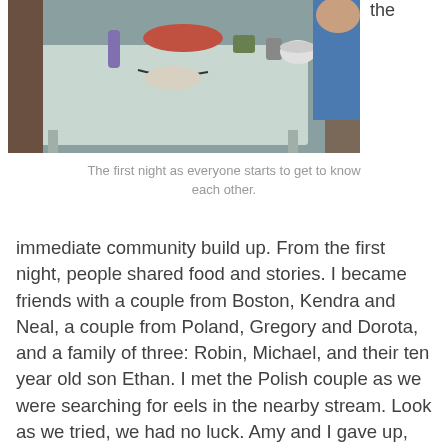[Figure (photo): Photo of people sitting around a table at night, with drinks, food containers and camping gear on the table. One person in a blue jacket is visible on the right.]
The first night as everyone starts to get to know each other.
immediate community build up. From the first night, people shared food and stories. I became friends with a couple from Boston, Kendra and Neal, a couple from Poland, Gregory and Dorota, and a family of three: Robin, Michael, and their ten year old son Ethan. I met the Polish couple as we were searching for eels in the nearby stream. Look as we tried, we had no luck. Amy and I gave up, headed back to camp, and tried out the huge hula hoops (we had a lot of time to kill).